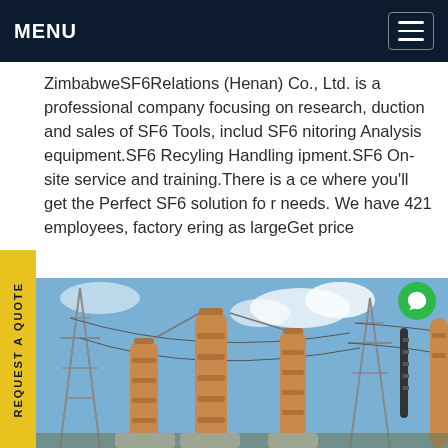MENU
ZimbabweSF6Relations (Henan) Co., Ltd. is a professional company focusing on research, duction and sales of SF6 Tools, includ SF6 nitoring Analysis equipment.SF6 Recyling Handling ipment.SF6 On-site service and training.There is a ce where you'll get the Perfect SF6 solution fo r needs. We have 421 employees, factory ering as largeGet price
[Figure (photo): Outdoor electrical substation with high-voltage equipment, orange/tan colored cable insulators, transmission towers and power lines against a blue sky with clouds.]